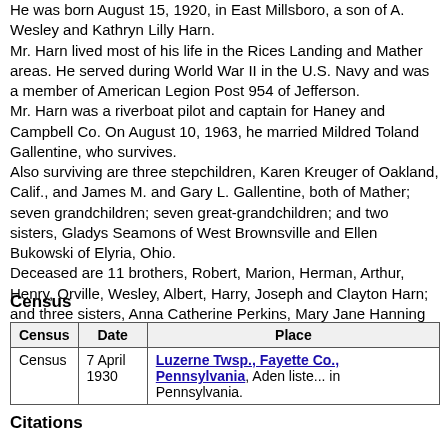He was born August 15, 1920, in East Millsboro, a son of A. Wesley and Kathryn Lilly Harn.
Mr. Harn lived most of his life in the Rices Landing and Mather areas. He served during World War II in the U.S. Navy and was a member of American Legion Post 954 of Jefferson.
Mr. Harn was a riverboat pilot and captain for Haney and Campbell Co. On August 10, 1963, he married Mildred Toland Gallentine, who survives.
Also surviving are three stepchildren, Karen Kreuger of Oakland, Calif., and James M. and Gary L. Gallentine, both of Mather; seven grandchildren; seven great-grandchildren; and two sisters, Gladys Seamons of West Brownsville and Ellen Bukowski of Elyria, Ohio.
Deceased are 11 brothers, Robert, Marion, Herman, Arthur, Henry, Orville, Wesley, Albert, Harry, Joseph and Clayton Harn; and three sisters, Anna Catherine Perkins, Mary Jane Hanning and Margaret Christopher.
Census
| Census | Date | Place |
| --- | --- | --- |
| Census | 7 April 1930 | Luzerne Twsp., Fayette Co., Pennsylvania, Aden listed in Pennsylvania. |
Citations